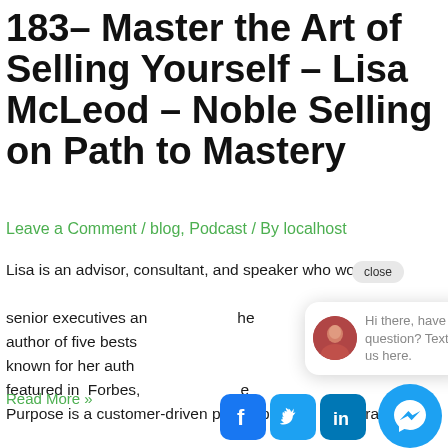183– Master the Art of Selling Yourself – Lisa McLeod – Noble Selling on Path to Mastery
Leave a Comment / blog, Podcast / By localhost
Lisa is an advisor, consultant, and speaker who works with senior executives and … the author of five bests… known for her auth… featured in Forbes, … Purpose is a customer-driven philosophy that accelerates ...
Read More »